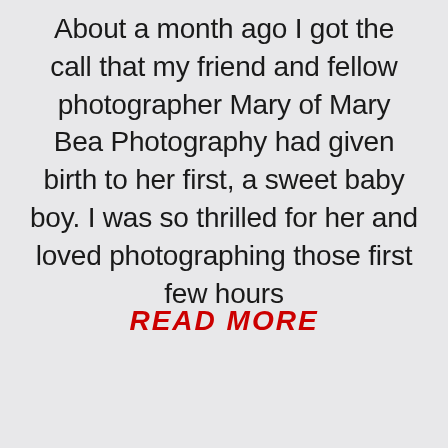About a month ago I got the call that my friend and fellow photographer Mary of Mary Bea Photography had given birth to her first, a sweet baby boy. I was so thrilled for her and loved photographing those first few hours
READ MORE